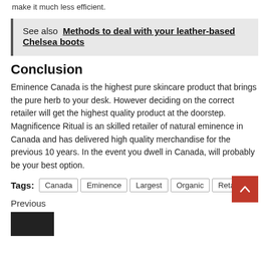make it much less efficient.
See also  Methods to deal with your leather-based Chelsea boots
Conclusion
Eminence Canada is the highest pure skincare product that brings the pure herb to your desk. However deciding on the correct retailer will get the highest quality product at the doorstep. Magnificence Ritual is an skilled retailer of natural eminence in Canada and has delivered high quality merchandise for the previous 10 years. In the event you dwell in Canada, will probably be your best option.
Tags: Canada  Eminence  Largest  Organic  Retailer
Previous